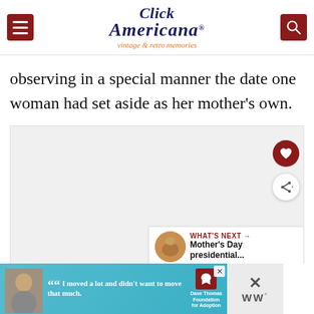Click Americana — vintage & retro memories
observing in a special manner the date one woman had set aside as her mother's own.
[Figure (other): Gray content/image placeholder area with floating heart and share action buttons, and a 'What's Next' callout showing 'Mother's Day presidential...']
[Figure (other): Advertisement banner: Dave Thomas Foundation for Adoption ad with quote 'I moved a lot and didn't want to move that much.' with photo of teenager]